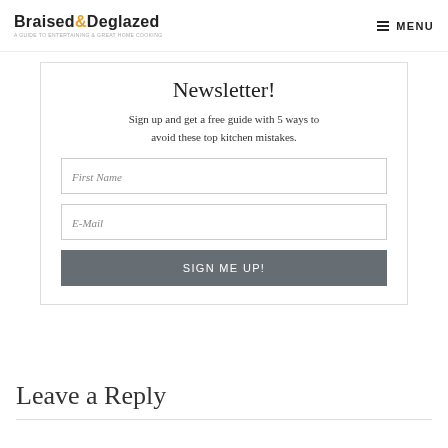Braised & Deglazed — MENU
Newsletter!
Sign up and get a free guide with 5 ways to avoid these top kitchen mistakes.
First Name
E-Mail
SIGN ME UP!
Leave a Reply